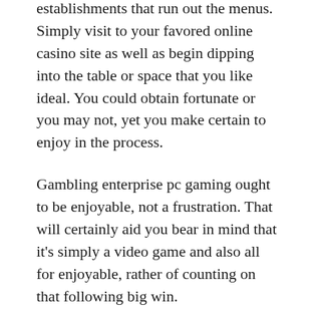establishments that run out the menus. Simply visit to your favored online casino site as well as begin dipping into the table or space that you like ideal. You could obtain fortunate or you may not, yet you make certain to enjoy in the process.
Gambling enterprise pc gaming ought to be enjoyable, not a frustration. That will certainly aid you bear in mind that it's simply a video game and also all for enjoyable, rather of counting on that following big win.
A broadband Web link is needed for a lot of casino sites online, due to the fact that the activity relocates as well quick for dial up. This is obtaining a great deal less complicated to discover, as well as on the internet gambling enterprises continue to be truly preferred